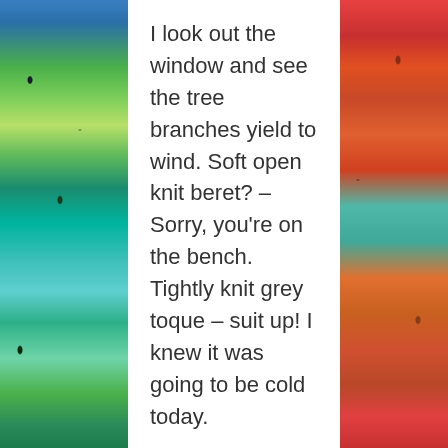[Figure (illustration): Colorful stained-glass style abstract painting visible on left and right sides of the page, with blues, greens, teals on the left and reds, oranges, teals on the right, separated by a white central panel containing text.]
I look out the window and see the tree branches yield to wind. Soft open knit beret? – Sorry, you're on the bench. Tightly knit grey toque – suit up! I knew it was going to be cold today.
Last, but hardly least, I pull my red pea coat into service. After all, I knew it was going to be cold today.
Forewarned and armed, I open my front down and head down the